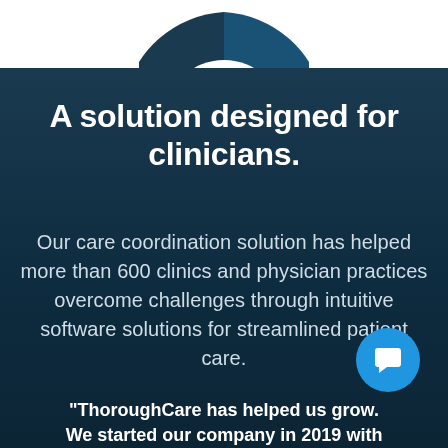[Figure (donut-chart): Partial view of a donut/pie chart cropped at the top of the page, showing dark teal and blue segments]
A solution designed for clinicians.
Our care coordination solution has helped more than 600 clinics and physician practices overcome challenges through intuitive software solutions for streamlined patient care.
"ThoroughCare has helped us grow. We started our company in 2019 with